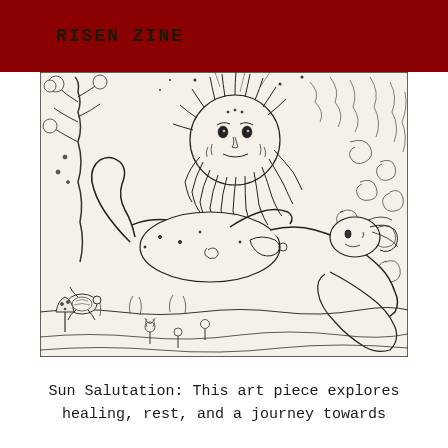RISEN ZINE
[Figure (illustration): A detailed black and white pen-and-ink illustration depicting a reclining human figure beneath a large sun with a face and flowing rays/beard. The scene includes swirling decorative background elements, a tree on the left, a turtle, mushrooms, and flowers in a folk-art style reminiscent of Art Nouveau.]
Sun Salutation: This art piece explores healing, rest, and a journey towards